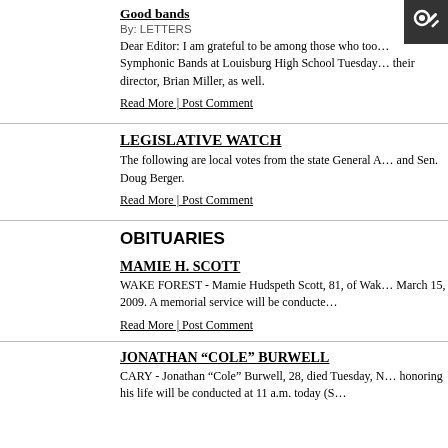Good bands
By: LETTERS
Dear Editor: I am grateful to be among those who took in the performance of the Concert and Symphonic Bands at Louisburg High School Tuesday night. I want to compliment their director, Brian Miller, as well.
Read More | Post Comment
LEGISLATIVE WATCH
The following are local votes from the state General Assembly by local representatives and Sen. Doug Berger.
Read More | Post Comment
OBITUARIES
MAMIE H. SCOTT
WAKE FOREST - Mamie Hudspeth Scott, 81, of Wake Forest, died Sunday, March 15, 2009. A memorial service will be conducted...
Read More | Post Comment
JONATHAN “COLE” BURWELL
CARY - Jonathan “Cole” Burwell, 28, died Tuesday. A service honoring his life will be conducted at 11 a.m. today (S...